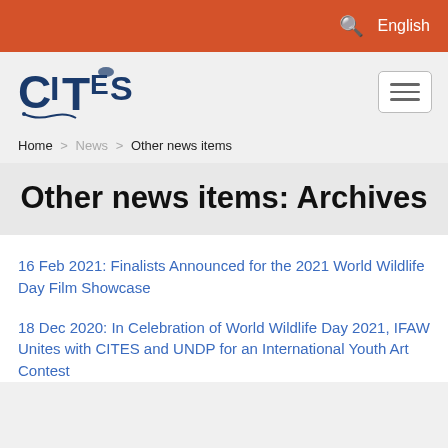English
[Figure (logo): CITES organization logo with stylized text and animal imagery]
Home > News > Other news items
Other news items: Archives
16 Feb 2021: Finalists Announced for the 2021 World Wildlife Day Film Showcase
18 Dec 2020: In Celebration of World Wildlife Day 2021, IFAW Unites with CITES and UNDP for an International Youth Art Contest